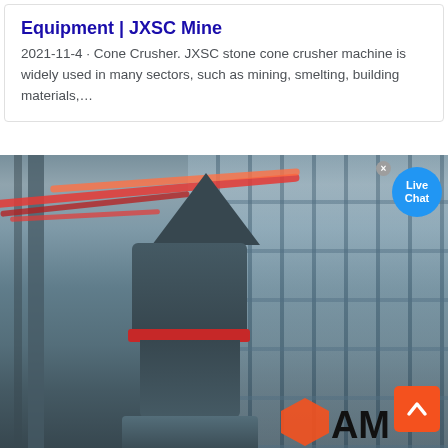Equipment | JXSC Mine
2021-11-4 · Cone Crusher. JXSC stone cone crusher machine is widely used in many sectors, such as mining, smelting, building materials,…
[Figure (photo): Industrial photo of a large cone crusher machine inside a factory/warehouse building. The machine is dark gray/blue, tall and cylindrical with multiple sections. Red/orange decorative ribbons hang in the background. A 'Live Chat' bubble appears in the upper right. A back-to-top orange button and partial 'AM' logo are visible at the bottom right.]